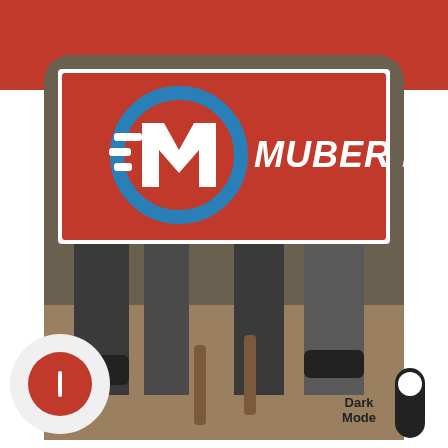[Figure (screenshot): App screenshot showing MUBER ME! moving company logo on a red banner over a photo of movers carrying furniture. Below the screenshot are UI elements: a circular red button on the lower left and a Dark Mode toggle on the lower right.]
Dark Mode
[Figure (illustration): Dark mode toggle switch in the OFF/white position]